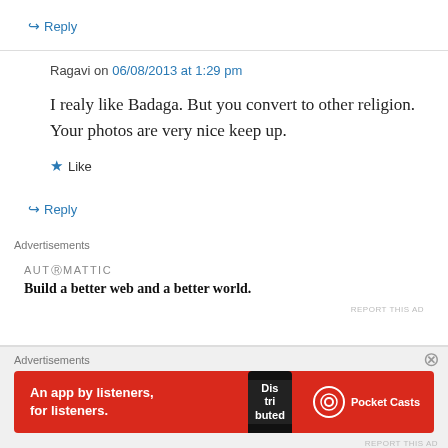↪ Reply
Ragavi on 06/08/2013 at 1:29 pm
I realy like Badaga. But you convert to other religion. Your photos are very nice keep up.
★ Like
↪ Reply
Advertisements
[Figure (screenshot): Automattic advertisement: 'Build a better web and a better world.']
REPORT THIS AD
Advertisements
[Figure (screenshot): Pocket Casts advertisement: 'An app by listeners, for listeners.']